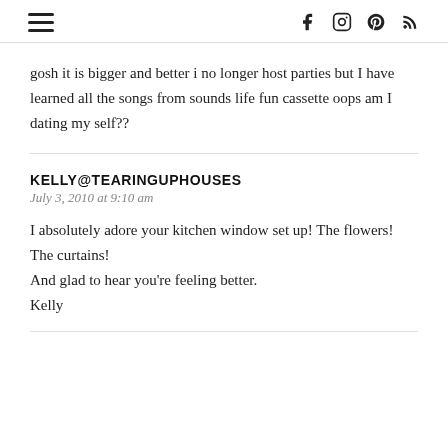Navigation menu and social icons (facebook, instagram, pinterest, rss)
gosh it is bigger and better i no longer host parties but I have learned all the songs from sounds life fun cassette oops am I dating my self??
KELLY@TEARINGUPHOUSES
July 3, 2010 at 9:10 am
I absolutely adore your kitchen window set up! The flowers! The curtains!
And glad to hear you're feeling better.
Kelly